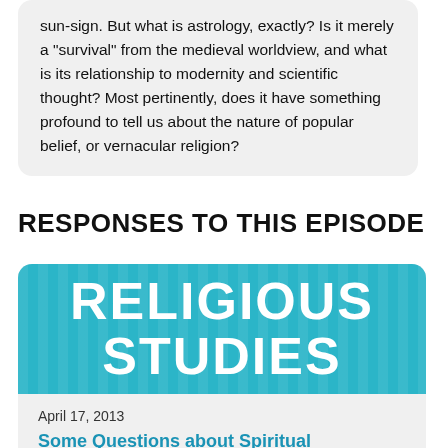sun-sign. But what is astrology, exactly? Is it merely a “survival” from the medieval worldview, and what is its relationship to modernity and scientific thought? Most pertinently, does it have something profound to tell us about the nature of popular belief, or vernacular religion?
RESPONSES TO THIS EPISODE
[Figure (illustration): Banner image with teal/cyan background and vertical stripe pattern showing the text 'RELIGIOUS STUDIES' in large bold white capital letters]
April 17, 2013
Some Questions about Spiritual Tourism
"On a more fundamental level, this raises